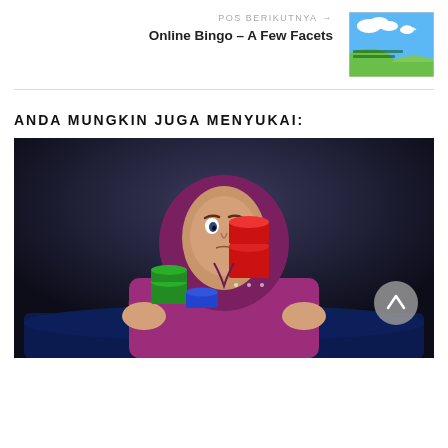POS BERIKUTNYA →
Online Bingo – A Few Facets
[Figure (illustration): Small thumbnail image of a bingo beginners guide with text 'Some Facts on for Bingo Beginners' over a colorful sky and green hills background with a dove.]
ANDA MUNGKIN JUGA MENYUKAI:
[Figure (illustration): Animated illustration of a person wearing a purple/magenta hoodie sitting at a poker or casino table, with stacks of colored poker chips (red, blue, green) in front of them. The figure has an intense expression. Dark background with spotlight effect.]